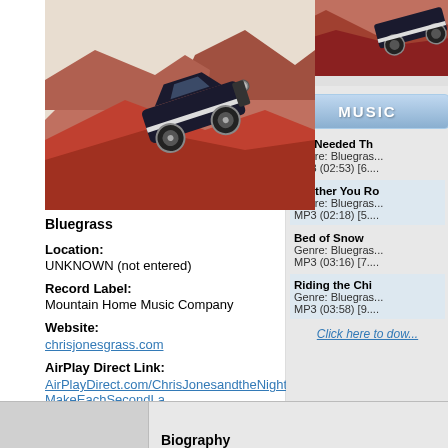[Figure (illustration): Album art showing a vintage black car climbing red mountain hills, stylized illustration]
Bluegrass
Location:
UNKNOWN (not entered)
Record Label:
Mountain Home Music Company
Website:
chrisjonesgrass.com
AirPlay Direct Link:
AirPlayDirect.com/ChrisJonesandtheNightDrivers-MakeEachSecondLa
[Figure (photo): Partial photo on right side, appears to be another album cover or image]
MUSIC
We Needed Th...
Genre: Bluegras...
MP3 (02:53) [6....
Whither You Ro...
Genre: Bluegras...
MP3 (02:18) [5....
Bed of Snow
Genre: Bluegras...
MP3 (03:16) [7....
Riding the Chi...
Genre: Bluegras...
MP3 (03:58) [9....
Click here to dow...
Biography